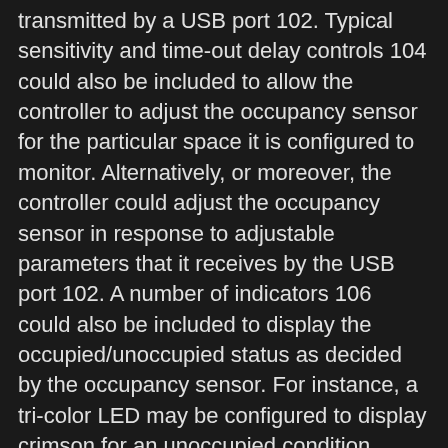transmitted by a USB port 102. Typical sensitivity and time-out delay controls 104 could also be included to allow the controller to adjust the occupancy sensor for the particular space it is configured to monitor. Alternatively, or moreover, the controller could adjust the occupancy sensor in response to adjustable parameters that it receives by the USB port 102. A number of indicators 106 could also be included to display the occupied/unoccupied status as decided by the occupancy sensor. For instance, a tri-color LED may be configured to display crimson for an unoccupied condition, inexperienced for an occupied condition, and yellow for a fault condition. A "wake now" enter permits a person to take the system out of unoccupied mode if the sensor does not detect when the user returns to the workstation. Electronics in the occupancy sensor or utility software within the workstation might improve the sensitivity setting of the occupancy sensor every time the wake now button is pressed, since this may increasingly point out that the sensitivity setting is